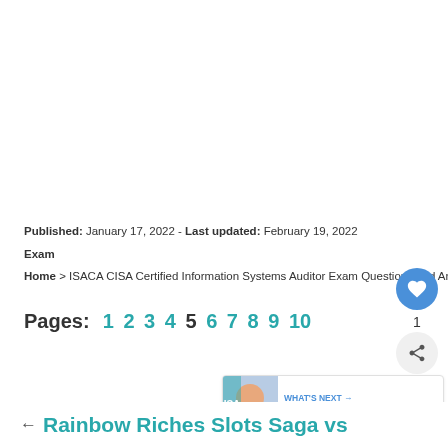Published: January 17, 2022 - Last updated: February 19, 2022
Exam
Home > ISACA CISA Certified Information Systems Auditor Exam Questions and Answers – 6 > Page 5
Pages: 1 2 3 4 5 6 7 8 9 10
WHAT'S NEXT → ISACA CISA Certified...
← Rainbow Riches Slots Saga vs